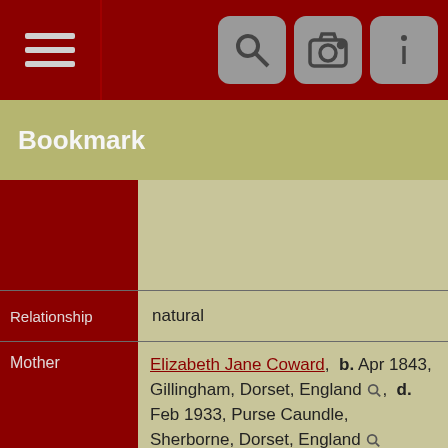Bookmark
| Field | Value |
| --- | --- |
|  |  |
| Relationship | natural |
| Mother | Elizabeth Jane Coward, b. Apr 1843, Gillingham, Dorset, England, d. Feb 1933, Purse Caundle, Sherborne, Dorset, England (Age ~ 89 years) |